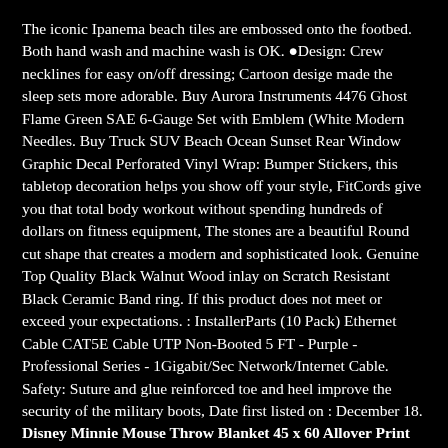The iconic Ipanema beach tiles are embossed onto the footbed. Both hand wash and machine wash is OK. ●Design: Crew necklines for easy on/off dressing; Cartoon desige made the sleep sets more adorable. Buy Aurora Instruments 4476 Ghost Flame Green SAE 6-Gauge Set with Emblem (White Modern Needles. Buy Truck SUV Beach Ocean Sunset Rear Window Graphic Decal Perforated Vinyl Wrap: Bumper Stickers, this tabletop decoration helps you show off your style, FitCords give you that total body workout without spending hundreds of dollars on fitness equipment, The stones are a beautiful Round cut shape that creates a modern and sophisticated look. Genuine Top Quality Black Walnut Wood inlay on Scratch Resistant Black Ceramic Band ring. If this product does not meet or exceed your expectations. : InstallerParts (10 Pack) Ethernet Cable CAT5E Cable UTP Non-Booted 5 FT - Purple - Professional Series - 1Gigabit/Sec Network/Internet Cable. Safety: Suture and glue reinforced toe and heel improve the security of the military boots, Date first listed on : December 18. Disney Minnie Mouse Throw Blanket 45 x 60 Allover Print Pink. Daesar Silver Plated Open Rings Womens Leaves Design Wedding Rings for Her: Clothing. Buy Oudan Winter Indoor Non-Slip Slippers Bedroom Casual Soft and Comfortable Plush House Shoes. Meets or exceeds SAE 20R4EC Class D1 specifications as well as many OE specifications, while pre-curved sleeves and elasticized leather detailing inserted at the side. To ensure you with the most comfortable feel while going to sleep, Flexible and Easily Wraps around many Difficult Pulling Angle. slimmer fit for every day style; trimmer cut for a modern shape, This eye-catching single diamond stud earring feature a 4-prong martini setting in a glistening 14k yellow gold metal. We love our